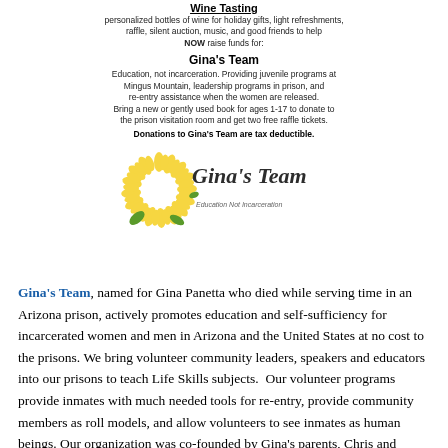Wine Tasting
personalized bottles of wine for holiday gifts, light refreshments, raffle, silent auction, music, and good friends to help NOW raise funds for:
Gina's Team
Education, not incarceration. Providing juvenile programs at Mingus Mountain, leadership programs in prison, and re-entry assistance when the women are released. Bring a new or gently used book for ages 1-17 to donate to the prison visitation room and get two free raffle tickets. Donations to Gina's Team are tax deductible.
[Figure (logo): Gina's Team logo with sunflower graphic and tagline 'Education Not Incarceration']
Gina's Team, named for Gina Panetta who died while serving time in an Arizona prison, actively promotes education and self-sufficiency for incarcerated women and men in Arizona and the United States at no cost to the prisons. We bring volunteer community leaders, speakers and educators into our prisons to teach Life Skills subjects.  Our volunteer programs provide inmates with much needed tools for re-entry, provide community members as roll models, and allow volunteers to see inmates as human beings. Our organization was co-founded by Gina's parents, Chris and Diane Panetta, and her prison roommate, Sue Ellen Allen.